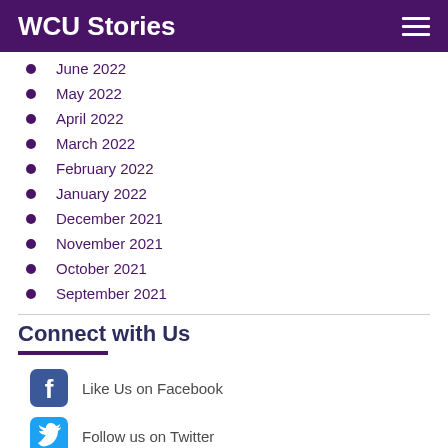WCU Stories
June 2022
May 2022
April 2022
March 2022
February 2022
January 2022
December 2021
November 2021
October 2021
September 2021
Connect with Us
Like Us on Facebook
Follow us on Twitter